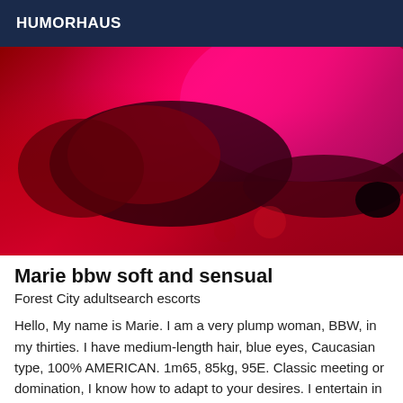HUMORHAUS
[Figure (photo): A woman lying on a red bed, photographed under pink/red lighting, wearing dark clothing including what appears to be a red lace top and black stockings.]
Marie bbw soft and sensual
Forest City adultsearch escorts
Hello, My name is Marie. I am a very plump woman, BBW, in my thirties. I have medium-length hair, blue eyes, Caucasian type, 100% AMERICAN. 1m65, 85kg, 95E. Classic meeting or domination, I know how to adapt to your desires. I entertain in private homes in